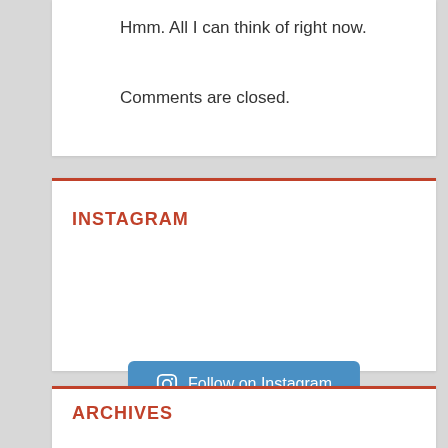Hmm. All I can think of right now.
Comments are closed.
INSTAGRAM
Follow on Instagram
ARCHIVES
Select Month